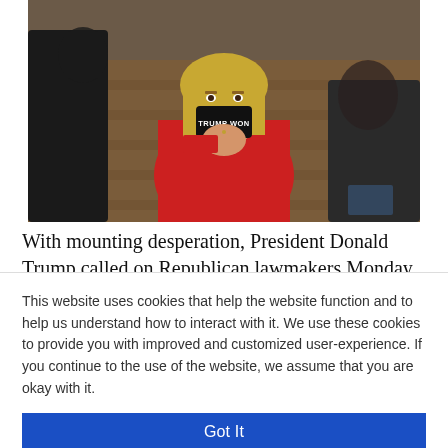[Figure (photo): A woman in a red outfit wearing a black face mask that reads 'TRUMP WON' inside what appears to be a legislative chamber with wooden seating]
With mounting desperation, President Donald Trump called on Republican lawmakers Monday to reverse his election loss to Joe Biden when Congress convenes for a joint session this week
This website uses cookies that help the website function and to help us understand how to interact with it. We use these cookies to provide you with improved and customized user-experience. If you continue to the use of the website, we assume that you are okay with it.
Got It